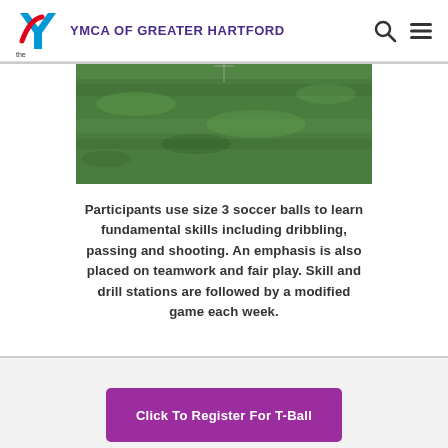YMCA OF GREATER HARTFORD
[Figure (photo): Green grass field, outdoor sports area]
Participants use size 3 soccer balls to learn fundamental skills including dribbling, passing and shooting. An emphasis is also placed on teamwork and fair play. Skill and drill stations are followed by a modified game each week.
Click To Register For T-Ball